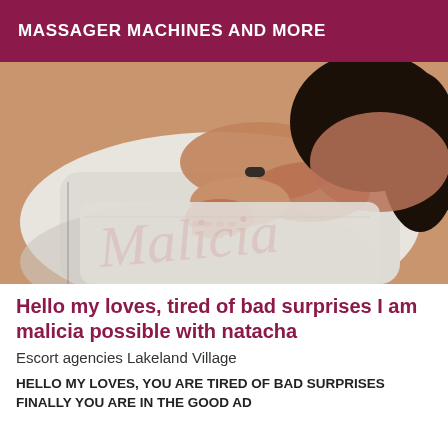MASSAGER MACHINES AND MORE
[Figure (photo): A woman with dark hair and red nail polish reclining on white bedding/cushions, with a watermark reading 'Malicia' overlaid on the image.]
Hello my loves, tired of bad surprises I am malicia possible with natacha
Escort agencies Lakeland Village
HELLO MY LOVES, YOU ARE TIRED OF BAD SURPRISES FINALLY YOU ARE IN THE GOOD AD